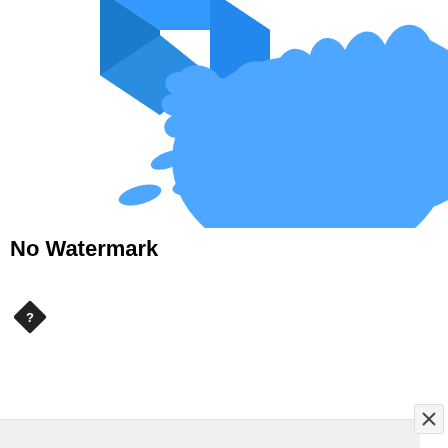[Figure (illustration): Blue 3D box/cube shape with a blue ink splash/splatter behind and around it, cropped at top, on white background]
No Watermark
[Figure (other): Small black diamond/rotated square icon with a question mark inside]
[Figure (other): A UI overlay panel at the bottom right with a close (x) button and a light gray bar]